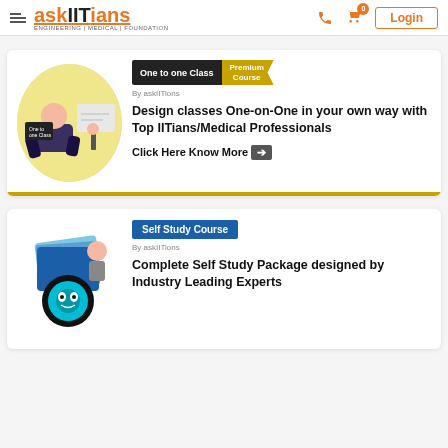askIITians — ENGINEERING | MEDICAL | FOUNDATION — Login
[Figure (screenshot): One-to-one Class card with student illustration, Premium Course badge, and Click Here Know More link]
Design classes One-on-One in your own way with Top IITians/Medical Professionals
Click Here Know More →
[Figure (screenshot): Self Study Course card with robot/AI illustration]
Self Study Course — By askIITions
Complete Self Study Package designed by Industry Leading Experts